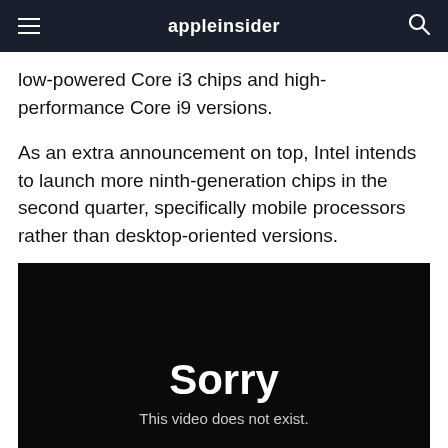appleinsider
low-powered Core i3 chips and high-performance Core i9 versions.
As an extra announcement on top, Intel intends to launch more ninth-generation chips in the second quarter, specifically mobile processors rather than desktop-oriented versions.
[Figure (screenshot): Black video player showing error message: 'Sorry' in large bold white text and 'This video does not exist.' in smaller white text below.]